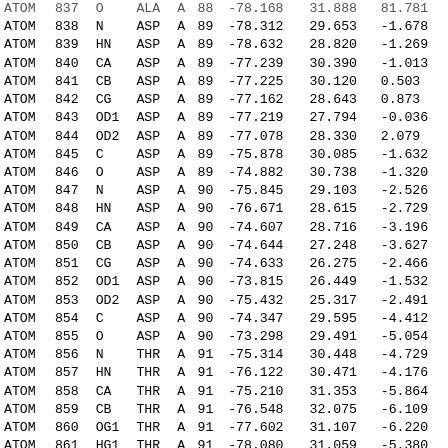| type | serial | name | res | chain | seqnum | x | y | z |
| --- | --- | --- | --- | --- | --- | --- | --- | --- |
| ATOM | 837 | O | ALA | A | 88 | -78.168 | 31.888 | 81.781 |
| ATOM | 838 | N | ASP | A | 89 | -78.312 | 29.653 | -1.678 |
| ATOM | 839 | HN | ASP | A | 89 | -78.632 | 28.820 | -1.269 |
| ATOM | 840 | CA | ASP | A | 89 | -77.239 | 30.390 | -1.013 |
| ATOM | 841 | CB | ASP | A | 89 | -77.225 | 30.120 | 0.503 |
| ATOM | 842 | CG | ASP | A | 89 | -77.162 | 28.643 | 0.873 |
| ATOM | 843 | OD1 | ASP | A | 89 | -77.219 | 27.794 | -0.036 |
| ATOM | 844 | OD2 | ASP | A | 89 | -77.078 | 28.330 | 2.079 |
| ATOM | 845 | C | ASP | A | 89 | -75.878 | 30.085 | -1.632 |
| ATOM | 846 | O | ASP | A | 89 | -74.882 | 30.738 | -1.320 |
| ATOM | 847 | N | ASP | A | 90 | -75.845 | 29.103 | -2.526 |
| ATOM | 848 | HN | ASP | A | 90 | -76.671 | 28.615 | -2.729 |
| ATOM | 849 | CA | ASP | A | 90 | -74.607 | 28.716 | -3.196 |
| ATOM | 850 | CB | ASP | A | 90 | -74.644 | 27.248 | -3.627 |
| ATOM | 851 | CG | ASP | A | 90 | -74.633 | 26.275 | -2.466 |
| ATOM | 852 | OD1 | ASP | A | 90 | -73.815 | 26.449 | -1.532 |
| ATOM | 853 | OD2 | ASP | A | 90 | -75.432 | 25.317 | -2.491 |
| ATOM | 854 | C | ASP | A | 90 | -74.347 | 29.595 | -4.412 |
| ATOM | 855 | O | ASP | A | 90 | -73.298 | 29.491 | -5.054 |
| ATOM | 856 | N | THR | A | 91 | -75.314 | 30.448 | -4.729 |
| ATOM | 857 | HN | THR | A | 91 | -76.122 | 30.471 | -4.176 |
| ATOM | 858 | CA | THR | A | 91 | -75.210 | 31.353 | -5.864 |
| ATOM | 859 | CB | THR | A | 91 | -76.548 | 32.075 | -6.109 |
| ATOM | 860 | OG1 | THR | A | 91 | -77.602 | 31.107 | -6.220 |
| ATOM | 861 | HG1 | THR | A | 91 | -78.080 | 31.059 | -5.380 |
| ATOM | 862 | CG2 | THR | A | 91 | -76.490 | 32.906 | -7.381 |
| ATOM | 863 | C | THR | A | 91 | -74.110 | 32.389 | -5.638 |
| ATOM | 864 | O | THR | A | 91 | -74.300 | 33.364 | -4.909 |
| ATOM | 865 | N | ALA | A | 92 | -72.964 | 32.174 | -6.271 |
| ATOM | 866 | HN | ALA | A | 92 | -72.879 | 31.385 | -6.851 |
| ATOM | 867 | CA | ALA | A | 92 | -71.821 | 32.075 | -6.133 |